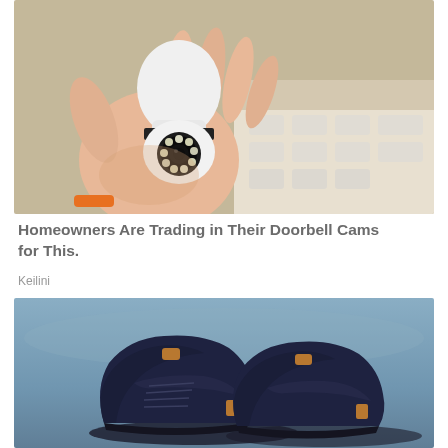[Figure (photo): A hand holding a white bulb-shaped security camera with LED lights around the lens, with a box of similar cameras visible in the background]
Homeowners Are Trading in Their Doorbell Cams for This.
Keilini
[Figure (photo): Dark navy blue sneakers/shoes with brown/tan accents on the tongue and heel, displayed against a blue-grey sky background]